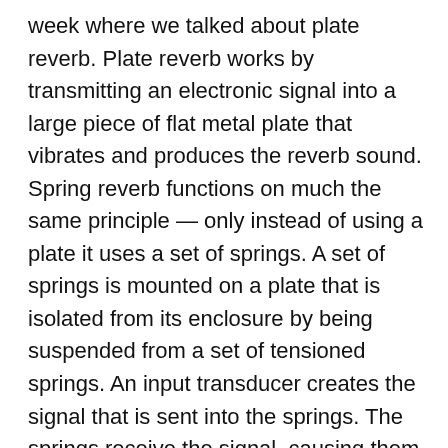week where we talked about plate reverb. Plate reverb works by transmitting an electronic signal into a large piece of flat metal plate that vibrates and produces the reverb sound. Spring reverb functions on much the same principle — only instead of using a plate it uses a set of springs. A set of springs is mounted on a plate that is isolated from its enclosure by being suspended from a set of tensioned springs. An input transducer creates the signal that is sent into the springs. The springs receive the signal, causing them to vibrate. An output transducer picks up the resulting signal at the opposite end of the springs. The use of multiple springs helps to improve the characteristics of the affect, as each spring is slightly different diameter, wire gauge and length, helping to create a sound one would hear if the instrument's output was being bounced off of different parts of